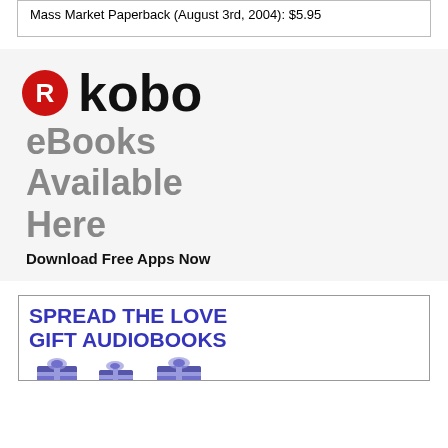Mass Market Paperback (August 3rd, 2004): $5.95
[Figure (logo): Kobo eBooks logo: red circle with white R, followed by bold black 'kobo' wordmark, with gray bold text 'eBooks Available Here' and black bold text 'Download Free Apps Now']
[Figure (infographic): Gift audiobooks advertisement box with blue bold text 'SPREAD THE LOVE GIFT AUDIOBOOKS' and blue wrapped gift boxes illustrated at the bottom]